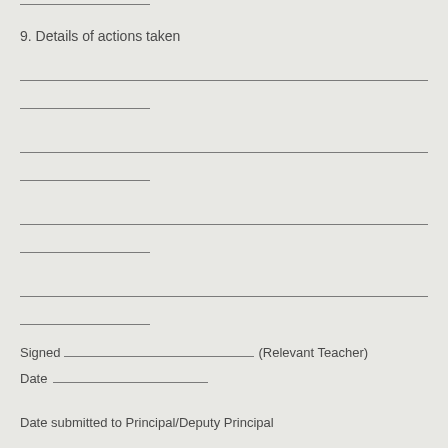9. Details of actions taken
Signed _________________________ (Relevant Teacher)
Date ____________________
Date submitted to Principal/Deputy Principal